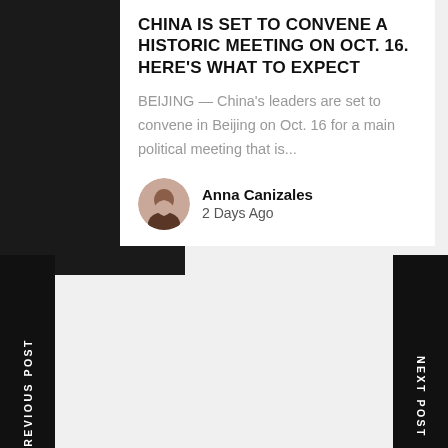[Figure (photo): Black image block representing article thumbnail photo on the left side]
CHINA IS SET TO CONVENE A HISTORIC MEETING ON OCT. 16. HERE'S WHAT TO EXPECT
BEIJING — China's leaders are set to convene in Beijing on Oct. 16 for a main political meeting that is...
Anna Canizales
2 Days Ago
PREVIOUS POST
NEXT POST
Search ...
Search